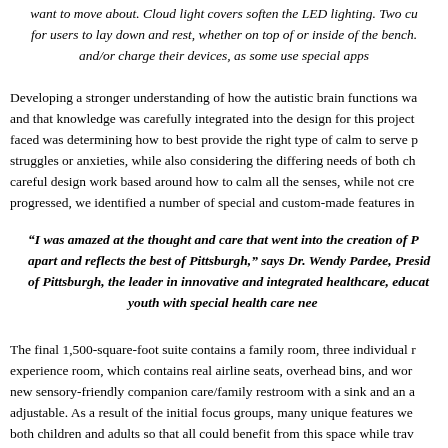want to move about. Cloud light covers soften the LED lighting. Two cu for users to lay down and rest, whether on top of or inside of the bench. and/or charge their devices, as some use special apps
Developing a stronger understanding of how the autistic brain functions wa and that knowledge was carefully integrated into the design for this project faced was determining how to best provide the right type of calm to serve p struggles or anxieties, while also considering the differing needs of both ch careful design work based around how to calm all the senses, while not cre progressed, we identified a number of special and custom-made features in
“I was amazed at the thought and care that went into the creation of P apart and reflects the best of Pittsburgh,” says Dr. Wendy Pardee, Presid of Pittsburgh, the leader in innovative and integrated healthcare, educat youth with special health care nee
The final 1,500-square-foot suite contains a family room, three individual r experience room, which contains real airline seats, overhead bins, and wor new sensory-friendly companion care/family restroom with a sink and an a adjustable. As a result of the initial focus groups, many unique features we both children and adults so that all could benefit from this space while trav